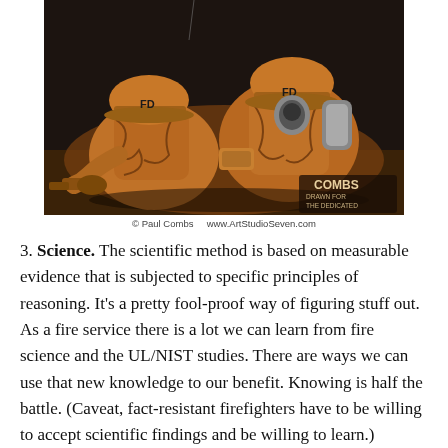[Figure (illustration): Comic-style illustration of two firefighters in full gear (helmets marked FD) crouching/working together, rendered in orange and dark tones. Signed by Paul Combs, www.ArtStudioSeven.com]
© Paul Combs    www.ArtStudioSeven.com
3. Science. The scientific method is based on measurable evidence that is subjected to specific principles of reasoning. It's a pretty fool-proof way of figuring stuff out. As a fire service there is a lot we can learn from fire science and the UL/NIST studies. There are ways we can use that new knowledge to our benefit. Knowing is half the battle. (Caveat, fact-resistant firefighters have to be willing to accept scientific findings and be willing to learn.)